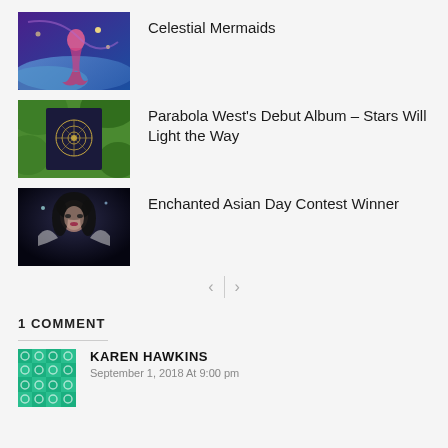Celestial Mermaids
Parabola West's Debut Album – Stars Will Light the Way
Enchanted Asian Day Contest Winner
1 COMMENT
KAREN HAWKINS
September 1, 2018 At 9:00 pm